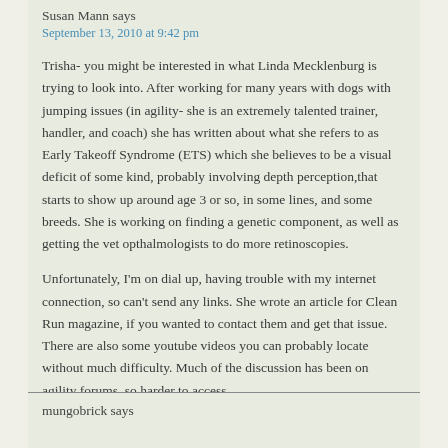Susan Mann says
September 13, 2010 at 9:42 pm
Trisha- you might be interested in what Linda Mecklenburg is trying to look into. After working for many years with dogs with jumping issues (in agility- she is an extremely talented trainer, handler, and coach) she has written about what she refers to as Early Takeoff Syndrome (ETS) which she believes to be a visual deficit of some kind, probably involving depth perception,that starts to show up around age 3 or so, in some lines, and some breeds. She is working on finding a genetic component, as well as getting the vet opthalmologists to do more retinoscopies.
Unfortunately, I'm on dial up, having trouble with my internet connection, so can't send any links. She wrote an article for Clean Run magazine, if you wanted to contact them and get that issue. There are also some youtube videos you can probably locate without much difficulty. Much of the discussion has been on agility forums, so harder to access.
mungobrick says